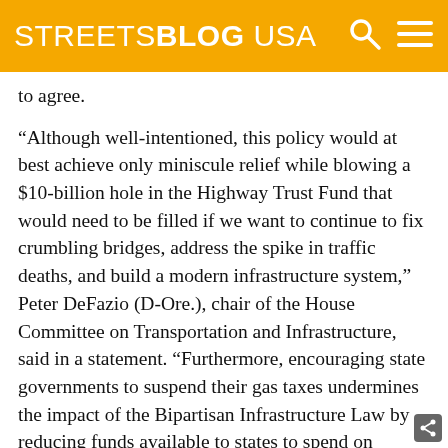STREETSBLOG USA
to agree.
“Although well-intentioned, this policy would at best achieve only miniscule relief while blowing a $10-billion hole in the Highway Trust Fund that would need to be filled if we want to continue to fix crumbling bridges, address the spike in traffic deaths, and build a modern infrastructure system,” Peter DeFazio (D-Ore.), chair of the House Committee on Transportation and Infrastructure, said in a statement. “Furthermore, encouraging state governments to suspend their gas taxes undermines the impact of the Bipartisan Infrastructure Law by reducing funds available to states to spend on infrastructure improvements. We should instead